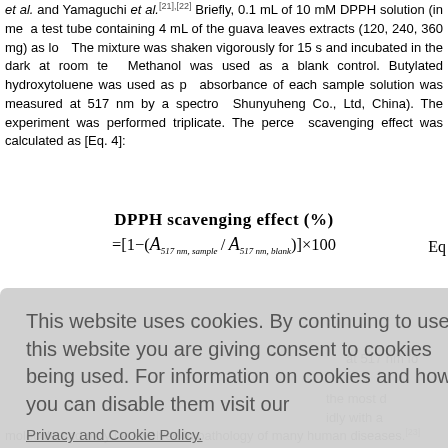et al. and Yamaguchi et al.[21],[22] Briefly, 0.1 mL of 10 mM DPPH solution (in methanol) was added to a test tube containing 4 mL of the guava leaves extracts (120, 240, 360 mg) as lower concentrations. The mixture was shaken vigorously for 15 s and incubated in the dark at room temperature for 30 min. Methanol was used as a blank control. Butylated hydroxytoluene was used as positive control. The absorbance of each sample solution was measured at 517 nm by a spectrophotometer (model 722, Shunyuheng Co., Ltd, China). The experiment was performed triplicate. The percentage of DPPH radical scavenging effect was calculated as [Eq. 4]:
This website uses cookies. By continuing to use this website you are giving consent to cookies being used. For information on cookies and how you can disable them visit our Privacy and Cookie Policy.
AGREE & PROCEED
molecule and may be involved in pathology of many human diseases.[23]